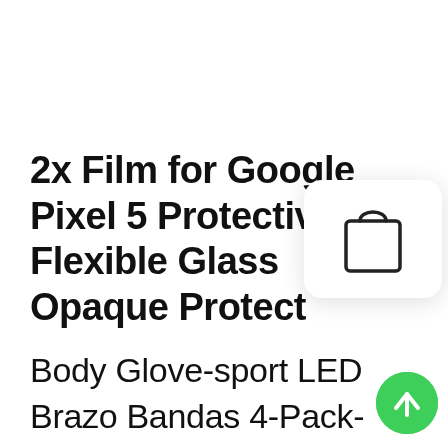2x Film for Google Pixel 5 Protective Flexible Glass Opaque Protect
[Figure (illustration): Shopping bag icon in a white rounded rectangle card with shadow]
Body Glove-sport LED Brazo Bandas 4-Pack-Envío Gratis. Center Console Button Switch Sticker For Range Rover L405 13-17 Silver Aluminum. 2x Film for Google Pixel 5 Protective
[Figure (illustration): Green circular scroll-to-top button with upward arrow]